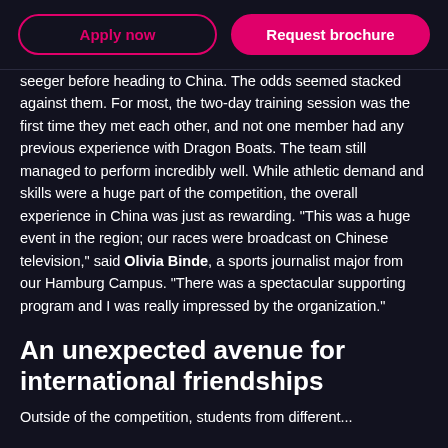Apply now | Request brochure
seeger before heading to China. The odds seemed stacked against them. For most, the two-day training session was the first time they met each other, and not one member had any previous experience with Dragon Boats. The team still managed to perform incredibly well. While athletic demand and skills were a huge part of the competition, the overall experience in China was just as rewarding. "This was a huge event in the region; our races were broadcast on Chinese television," said Olivia Binde, a sports journalist major from our Hamburg Campus. "There was a spectacular supporting program and I was really impressed by the organization."
An unexpected avenue for international friendships
Outside of the competition, students from different...